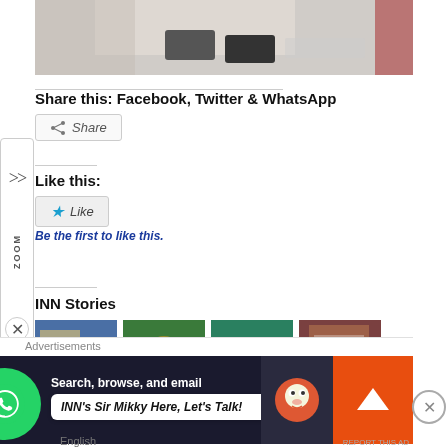[Figure (photo): Partial photo of a person sitting at a table with phones/items on it, cropped at top]
Share this: Facebook, Twitter & WhatsApp
[Figure (screenshot): Share button with share icon]
Like this:
[Figure (screenshot): Like button with blue star icon]
Be the first to like this.
INN Stories
[Figure (photo): Grid of four thumbnail images for INN Stories]
Advertisements
Search, browse, and email
INN's Sir Mikky Here, Let's Talk!
English
REPORT THIS AD